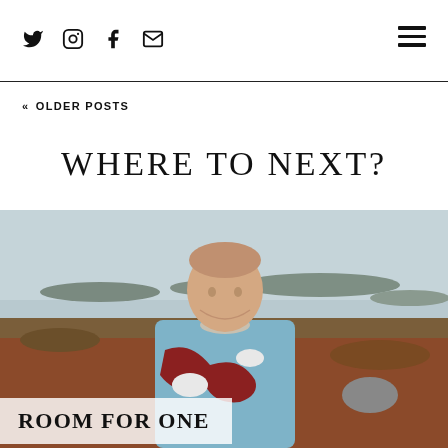Social icons: Twitter, Instagram, Facebook, Email | Hamburger menu
« OLDER POSTS
WHERE TO NEXT?
[Figure (photo): A young man in a colorful knit sweater standing outdoors near a lake or coastal wetland, with rocky terrain and water visible in the background.]
ROOM FOR ONE